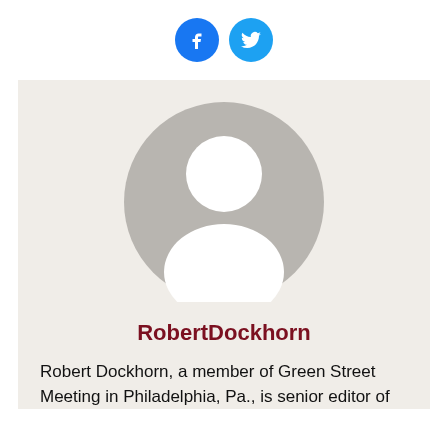[Figure (other): Two social media icon circles: Facebook (blue with 'f' icon) and Twitter (light blue with bird icon)]
[Figure (illustration): Generic grey user avatar silhouette on a light beige/grey background card]
RobertDockhorn
Robert Dockhorn, a member of Green Street Meeting in Philadelphia, Pa., is senior editor of